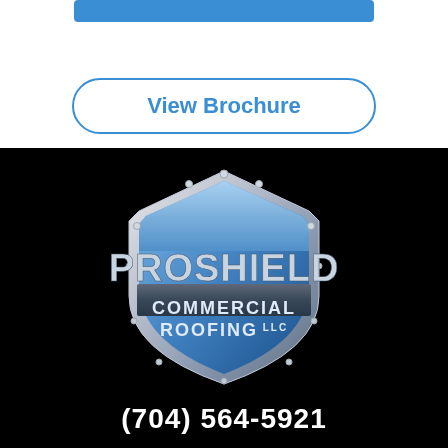[Figure (logo): Blue bar button at top of page]
View Brochure
[Figure (logo): ProShield Commercial Roofing LLC shield logo on black background]
(704) 564-5921